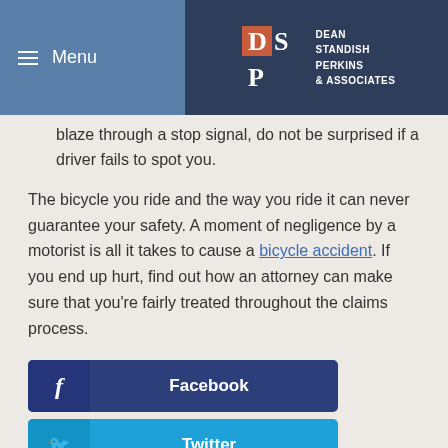Menu | DEAN STANDISH PERKINS & ASSOCIATES
blaze through a stop signal, do not be surprised if a driver fails to spot you.
The bicycle you ride and the way you ride it can never guarantee your safety. A moment of negligence by a motorist is all it takes to cause a bicycle accident. If you end up hurt, find out how an attorney can make sure that you're fairly treated throughout the claims process.
Facebook
Twitter
LinkedIn